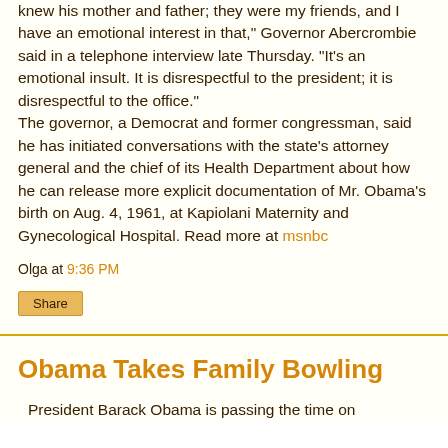knew his mother and father; they were my friends, and I have an emotional interest in that," Governor Abercrombie said in a telephone interview late Thursday. “It’s an emotional insult. It is disrespectful to the president; it is disrespectful to the office.” The governor, a Democrat and former congressman, said he has initiated conversations with the state’s attorney general and the chief of its Health Department about how he can release more explicit documentation of Mr. Obama’s birth on Aug. 4, 1961, at Kapiolani Maternity and Gynecological Hospital. Read more at msnbc
Olga at 9:36 PM
Share
Obama Takes Family Bowling
President Barack Obama is passing the time on